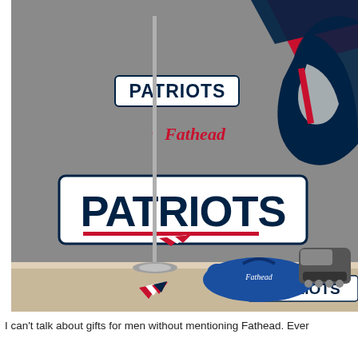[Figure (photo): A room with a gray wall decorated with New England Patriots Fathead wall decals — including the Patriots logo, wordmark logos of varying sizes, and a Fathead brand logo. A floor lamp stands in front of the wall. On the floor are a blue Fathead sports bag and inline skates/rollerblades.]
I can't talk about gifts for men without mentioning Fathead. Ever